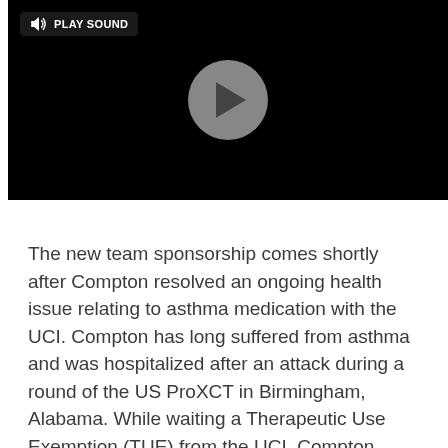[Figure (screenshot): Video player with black background, a 'Play Sound' button with speaker icon in the top-left, and a circular play button in the center.]
The new team sponsorship comes shortly after Compton resolved an ongoing health issue relating to asthma medication with the UCI. Compton has long suffered from asthma and was hospitalized after an attack during a round of the US ProXCT in Birmingham, Alabama. While waiting a Therapeutic Use Exemption (TUE) from the UCI, Compton raced without her usual medication during competition.